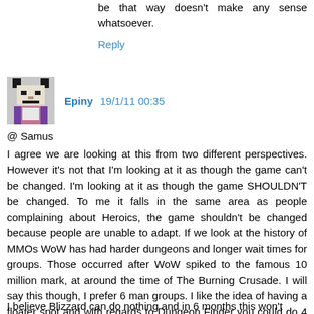be that way doesn't make any sense whatsoever.
Reply
Epiny 19/1/11 00:35
@ Samus
I agree we are looking at this from two different perspectives. However it's not that I'm looking at it as though the game can't be changed. I'm looking at it as though the game SHOULDN'T be changed. To me it falls in the same area as people complaining about Heroics, the game shouldn't be changed because people are unable to adapt. If we look at the history of MMOs WoW has had harder dungeons and longer wait times for groups. Those occurred after WoW spiked to the famous 10 million mark, at around the time of The Burning Crusade. I will say this though, I prefer 6 man groups. I like the idea of having a floater spot and with regards to Dungeon Finder you could do 4 DPS and 1Tank and 1 healer.
I believe Blizzard can do nothing and in 6 months this won't